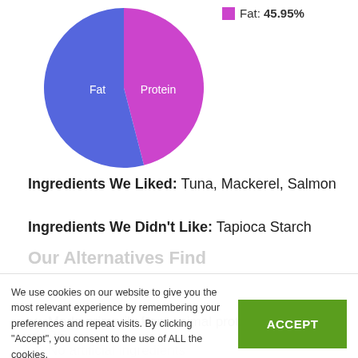[Figure (pie-chart): Macronutrient breakdown]
Fat: 45.95%
Ingredients We Liked: Tuna, Mackerel, Salmon
Ingredients We Didn't Like: Tapioca Starch
We use cookies on our website to give you the most relevant experience by remembering your preferences and repeat visits. By clicking "Accept", you consent to the use of ALL the cookies.
Pros
Made primarily from animal protein sources
No artificial ingredients